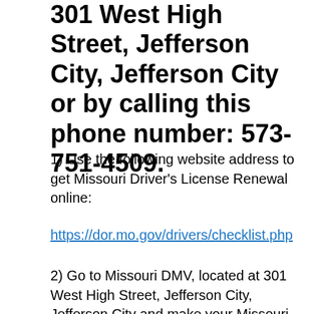301 West High Street, Jefferson City, Jefferson City or by calling this phone number: 573-751-4509.
1) Use the following website address to get Missouri Driver's License Renewal online:
https://dor.mo.gov/drivers/checklist.php
2) Go to Missouri DMV, located at 301 West High Street, Jefferson City, Jefferson City and make your Missouri Driver's License